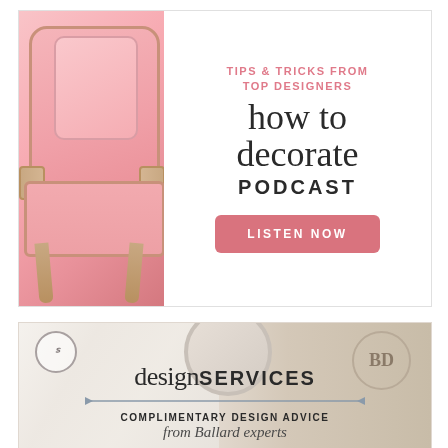[Figure (illustration): Advertisement for 'How to Decorate Podcast' featuring a pink French-style armchair on the left and text on the right reading 'TIPS & TRICKS FROM TOP DESIGNERS', 'how to decorate', 'PODCAST', with a pink 'LISTEN NOW' button]
[Figure (illustration): Advertisement for Ballard Design Services showing a marble background with a round mirror, small circular logo on left, BD logo on right, text 'design SERVICES' with arrow, 'COMPLIMENTARY DESIGN ADVICE', and 'from Ballard experts' in italic]